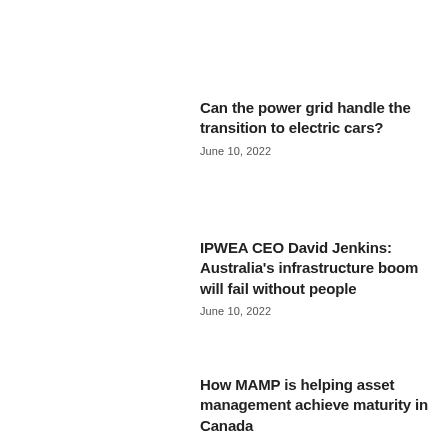Can the power grid handle the transition to electric cars?
June 10, 2022
IPWEA CEO David Jenkins: Australia’s infrastructure boom will fail without people
June 10, 2022
How MAMP is helping asset management achieve maturity in Canada